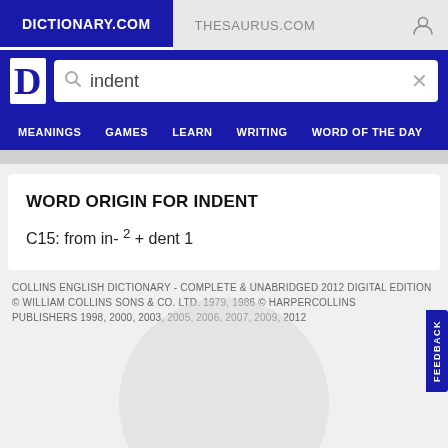DICTIONARY.COM | THESAURUS.COM
WORD ORIGIN FOR INDENT
C15: from in- ² + dent 1
COLLINS ENGLISH DICTIONARY - COMPLETE & UNABRIDGED 2012 DIGITAL EDITION
© WILLIAM COLLINS SONS & CO. LTD. 1979, 1986 © HARPERCOLLINS PUBLISHERS 1998, 2000, 2003, 2005, 2006, 2007, 2009, 2012